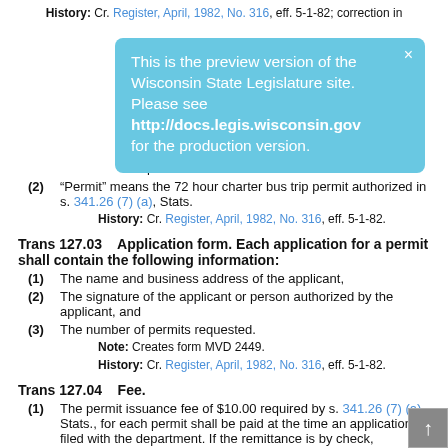History: Cr. Register, April, 1982, No. 316, eff. 5-1-82; correction in
[Figure (screenshot): Blue popup overlay: 'This is the preview version of the Wisconsin State Legislature site. Please see http://docs.legis.wisconsin.gov for the production version.']
transportation.
(2) “Permit” means the 72 hour charter bus trip permit authorized in s. 341.26 (7) (a), Stats.
History: Cr. Register, April, 1982, No. 316, eff. 5-1-82.
Trans 127.03   Application form. Each application for a permit shall contain the following information:
(1) The name and business address of the applicant,
(2) The signature of the applicant or person authorized by the applicant, and
(3) The number of permits requested.
Note: Creates form MVD 2449.
History: Cr. Register, April, 1982, No. 316, eff. 5-1-82.
Trans 127.04   Fee.
(1) The permit issuance fee of $10.00 required by s. 341.26 (7) (a), Stats., for each permit shall be paid at the time an application is filed with the department. If the remittance is by check,